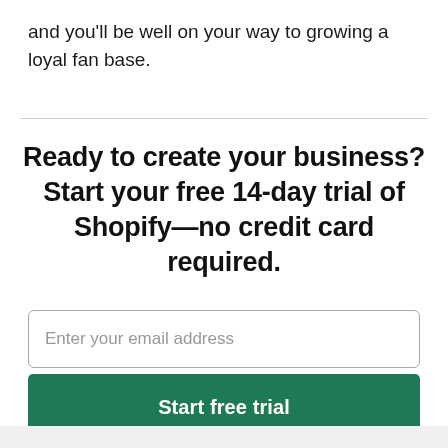and you'll be well on your way to growing a loyal fan base.
Ready to create your business? Start your free 14-day trial of Shopify—no credit card required.
Enter your email address
Start free trial